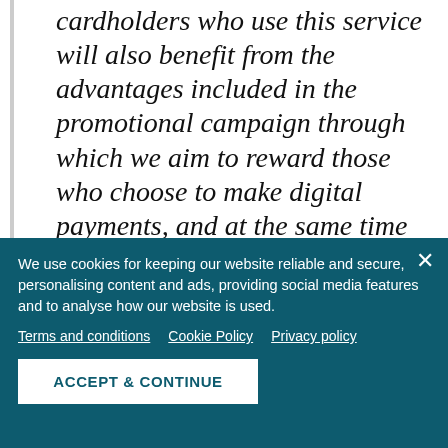cardholders who use this service will also benefit from the advantages included in the promotional campaign through which we aim to reward those who choose to make digital payments, and at the same time encourage other users to adopt this service", Elena Ungureanu, Visa Country Manager in Romania, said.
Users who already have a Pago subscription
We use cookies for keeping our website reliable and secure, personalising content and ads, providing social media features and to analyse how our website is used.
Terms and conditions   Cookie Policy   Privacy policy
ACCEPT & CONTINUE